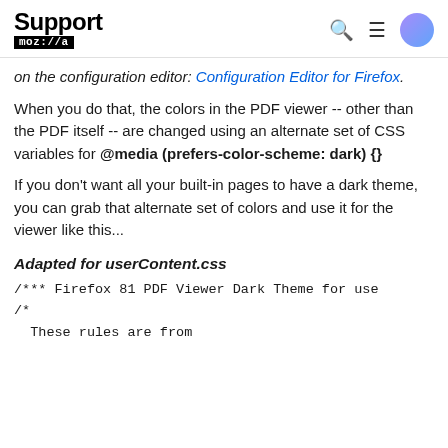Support moz://a
on the configuration editor: Configuration Editor for Firefox.
When you do that, the colors in the PDF viewer -- other than the PDF itself -- are changed using an alternate set of CSS variables for @media (prefers-color-scheme: dark) {}
If you don't want all your built-in pages to have a dark theme, you can grab that alternate set of colors and use it for the viewer like this...
Adapted for userContent.css
/*** Firefox 81 PDF Viewer Dark Theme for use
/*
  These rules are from